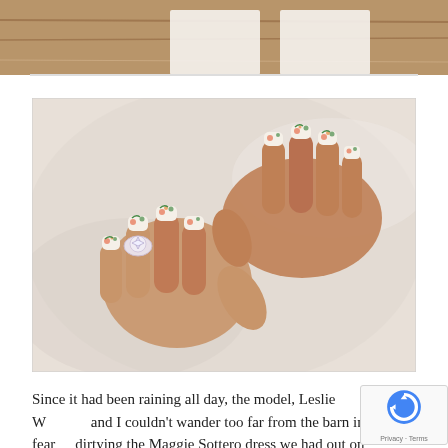[Figure (photo): Partial cropped image at top showing a wooden surface with white objects, top edge of page]
[Figure (photo): Close-up photograph of two hands overlapping on a white fabric surface. The hands have elaborate floral nail art with orange, green and white design. A diamond ring is visible on one finger.]
Since it had been raining all day, the model, Leslie Williams, and I couldn't wander too far from the barn in fear of dirtying the Maggie Sottero dress we had out on loan from The Wedding Bell. I love the shots we got near the forest...